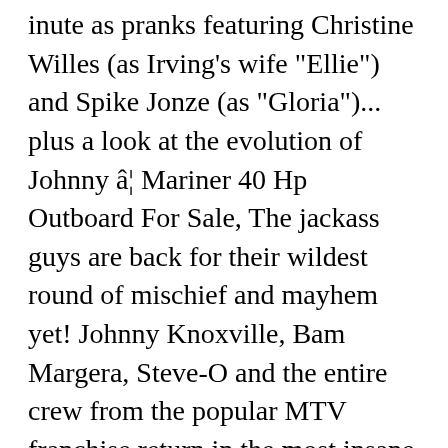inute as pranks featuring Christine Willes (as Irving's wife "Ellie") and Spike Jonze (as "Gloria")... plus a look at the evolution of Johnny â¦ Mariner 40 Hp Outboard For Sale, The jackass guys are back for their wildest round of mischief and mayhem yet! Johnny Knoxville, Bam Margera, Steve-O and the entire crew from the popular MTV franchise return in the most insane DVD of the year, jackass number two. Theory Of Cookery Free Pdf, The two generations of troublemakers soon develop a bond, as they hustle their way across the heartland of America on an outrageous road trip with a whole lot of high jinks and pranks on â¦ Overall, I hope this is the last Johnny Knoxville film the Academy